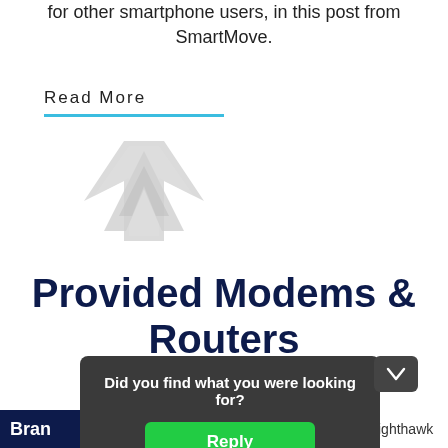for other smartphone users, in this post from SmartMove.
Read More
[Figure (logo): A light grey geometric angular logo mark, resembling an abstract arrow or building shape]
Provided Modems & Routers
SPARKLIGHT
Did you find what you were looking for?
Reply
Bran
ighthawk